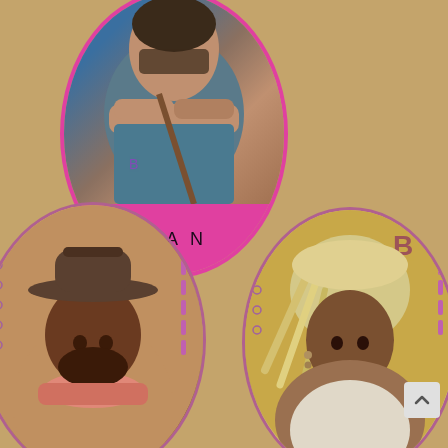[Figure (photo): Oval-framed photo of a man named Dan with arms crossed, wearing a teal shirt. Pink banner at bottom reads DAN.]
ToddTheCat
10TH PLACE
[Figure (photo): Oval-framed photo of a Black man wearing a cowboy hat and bandana.]
[Figure (photo): Oval-framed photo of a woman with long blonde braids and decorative headwrap.]